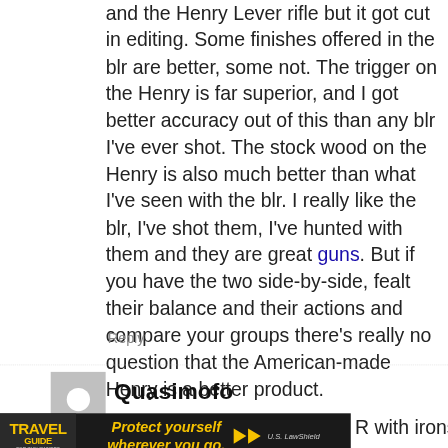and the Henry Lever rifle but it got cut in editing. Some finishes offered in the blr are better, some not. The trigger on the Henry is far superior, and I got better accuracy out of this than any blr I've ever shot. The stock wood on the Henry is also much better than what I've seen with the blr. I really like the blr, I've shot them, I've hunted with them and they are great guns. But if you have the two side-by-side, fealt their balance and their actions and compare your groups there's really no question that the American-made Henry is a better product.
Reply
Quasimofo
[Figure (photo): Travel Guide for Gun Owners advertisement banner — 'Protect yourself wherever you go.' with U.S. LawShield branding]
R with irons